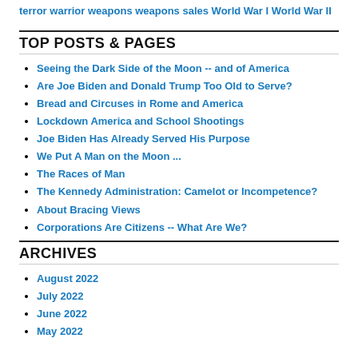terror warrior weapons weapons sales World War I World War II
TOP POSTS & PAGES
Seeing the Dark Side of the Moon -- and of America
Are Joe Biden and Donald Trump Too Old to Serve?
Bread and Circuses in Rome and America
Lockdown America and School Shootings
Joe Biden Has Already Served His Purpose
We Put A Man on the Moon ...
The Races of Man
The Kennedy Administration: Camelot or Incompetence?
About Bracing Views
Corporations Are Citizens -- What Are We?
ARCHIVES
August 2022
July 2022
June 2022
May 2022